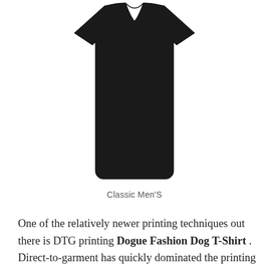[Figure (photo): A black classic men's t-shirt shown from the front, displayed against a white background. The shirt is a plain solid black color.]
Classic Men'S
One of the relatively newer printing techniques out there is DTG printing Dogue Fashion Dog T-Shirt . Direct-to-garment has quickly dominated the printing game since it's fashionably-late arrival in 2005. True to its name, this technique prints ink directly into the fibers of the fabrication, leaving zero detection of ink to the touch. Things to Consider: DTG does run higher in cost for larger batches and is